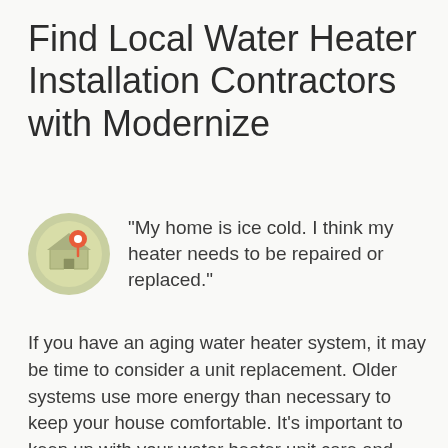Find Local Water Heater Installation Contractors with Modernize
[Figure (illustration): A circular icon with a light green/olive background showing a house and a red location pin marker, representing a local contractor finder.]
“My home is ice cold. I think my heater needs to be repaired or replaced.”
If you have an aging water heater system, it may be time to consider a unit replacement. Older systems use more energy than necessary to keep your house comfortable. It’s important to keep up with your water heater unit care and maintenance to make sure you never have to suffer the discomforts of a freezing bath or shower.
Modernize has over 10 years of experience helping